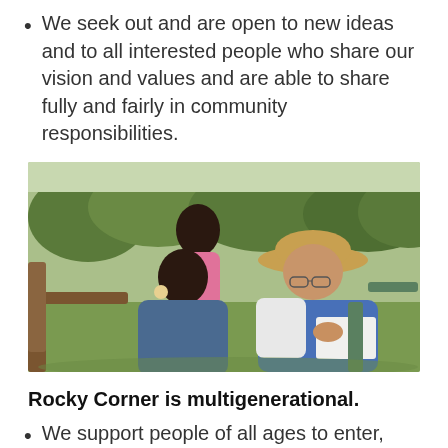We seek out and are open to new ideas and to all interested people who share our vision and values and are able to share fully and fairly in community responsibilities.
[Figure (photo): Outdoor photo of three people — a younger woman standing in the background wearing pink, a middle-aged woman sitting in a denim shirt with large earrings, and an older woman sitting in a blue shirt and sun hat, holding papers. They appear to be in conversation in a garden or park setting.]
Rocky Corner is multigenerational.
We support people of all ages to enter,